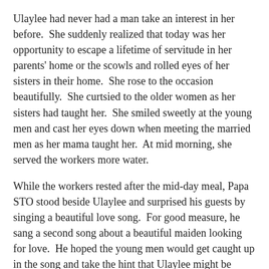Ulaylee had never had a man take an interest in her before. She suddenly realized that today was her opportunity to escape a lifetime of servitude in her parents' home or the scowls and rolled eyes of her sisters in their home. She rose to the occasion beautifully. She curtsied to the older women as her sisters had taught her. She smiled sweetly at the young men and cast her eyes down when meeting the married men as her mama taught her. At mid morning, she served the workers more water.
While the workers rested after the mid-day meal, Papa STO stood beside Ulaylee and surprised his guests by singing a beautiful love song. For good measure, he sang a second song about a beautiful maiden looking for love. He hoped the young men would get caught up in the song and take the hint that Ulaylee might be beautiful. Finally, he asked his daughters to sing a folk song with him. Ulaylee had a small solo part that she performed quite well.
Before the sun left the sky, the STO house had grown to include two new rooms enclosing a small courtyard; Hau and Rue had received compliments on their lovely wives and men had poked Papa STO and